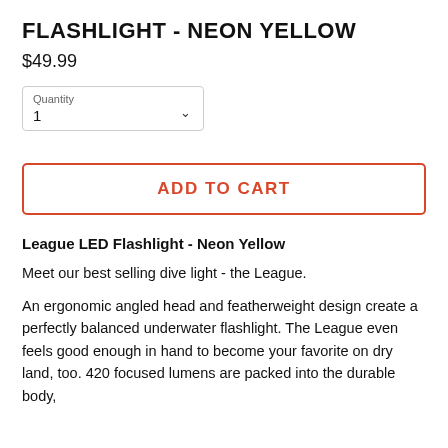FLASHLIGHT - NEON YELLOW
$49.99
Quantity
1
ADD TO CART
League LED Flashlight - Neon Yellow
Meet our best selling dive light - the League.
An ergonomic angled head and featherweight design create a perfectly balanced underwater flashlight. The League even feels good enough in hand to become your favorite on dry land, too. 420 focused lumens are packed into the durable body,